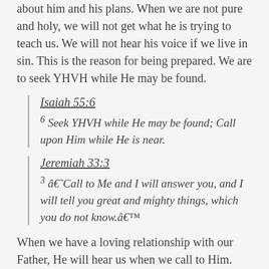about him and his plans. When we are not pure and holy, we will not get what he is trying to teach us. We will not hear his voice if we live in sin. This is the reason for being prepared. We are to seek YHVH while He may be found.
Isaiah 55:6
6 Seek YHVH while He may be found; Call upon Him while He is near.
Jeremiah 33:3
3 ‘Call to Me and I will answer you, and I will tell you great and mighty things, which you do not know.’
When we have a loving relationship with our Father, He will hear us when we call to Him.
Psalm 91:15